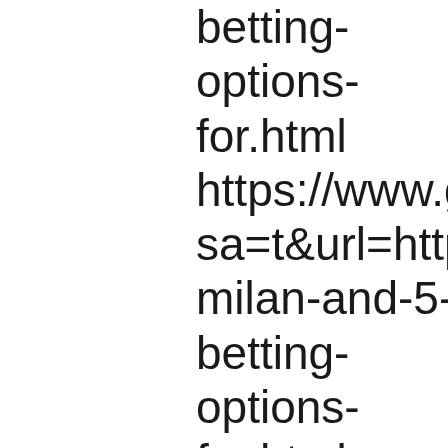betting-options-for.html https://www.google.ie/u sa=t&url=https://hhttps milan-and-5-betting-options-for.html https://www.google.hu sa=t&url=https://hhttps milan-and-5-